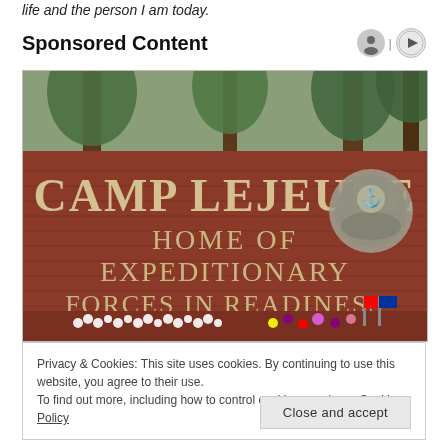life and the person I am today.
Sponsored Content
[Figure (photo): Photo of Camp Lejeune entrance sign on a brick wall reading 'CAMP LEJEUNE HOME OF EXPEDITIONARY FORCES IN READINESS' with a USMC Eagle Globe and Anchor emblem, flowers laid in front, trees in background.]
Privacy & Cookies: This site uses cookies. By continuing to use this website, you agree to their use.
To find out more, including how to control cookies, see here: Cookie Policy
Close and accept